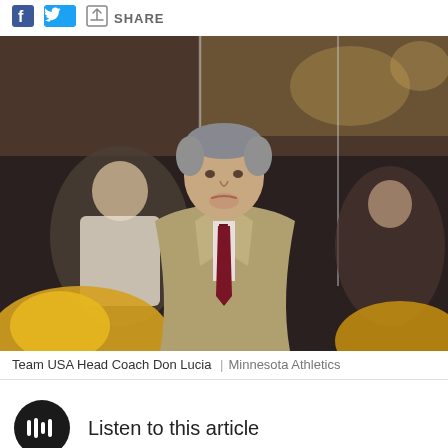SHARE
[Figure (photo): Team USA Head Coach Don Lucia standing at rinkside in a tan suit and dark maroon tie, with hockey players and fans visible in the background behind glass.]
Team USA Head Coach Don Lucia  |  Minnesota Athletics
Listen to this article